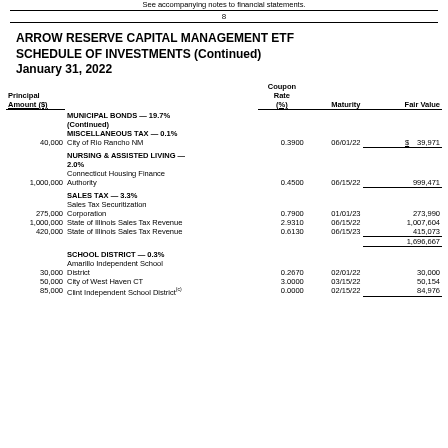See accompanying notes to financial statements.
8
ARROW RESERVE CAPITAL MANAGEMENT ETF
SCHEDULE OF INVESTMENTS (Continued)
January 31, 2022
| Principal Amount ($) |  | Coupon Rate (%) | Maturity | Fair Value |
| --- | --- | --- | --- | --- |
|  | MUNICIPAL BONDS — 19.7% (Continued) |  |  |  |
|  | MISCELLANEOUS TAX — 0.1% |  |  |  |
| 40,000 | City of Rio Rancho NM | 0.3900 | 06/01/22 | $ 39,971 |
|  | NURSING & ASSISTED LIVING — 2.0% |  |  |  |
|  | Connecticut Housing Finance Authority |  |  |  |
| 1,000,000 | Authority | 0.4500 | 06/15/22 | 999,471 |
|  | SALES TAX — 3.3% |  |  |  |
|  | Sales Tax Securitization |  |  |  |
| 275,000 | Corporation | 0.7900 | 01/01/23 | 273,990 |
| 1,000,000 | State of Illinois Sales Tax Revenue | 2.9310 | 06/15/22 | 1,007,604 |
| 420,000 | State of Illinois Sales Tax Revenue | 0.6130 | 06/15/23 | 415,073 |
|  |  |  |  | 1,696,667 |
|  | SCHOOL DISTRICT — 0.3% |  |  |  |
|  | Amarillo Independent School |  |  |  |
| 30,000 | District | 0.2670 | 02/01/22 | 30,000 |
| 50,000 | City of West Haven CT | 3.0000 | 03/15/22 | 50,154 |
| 85,000 | Clint Independent School District(c) | 0.0000 | 02/15/22 | 84,976 |